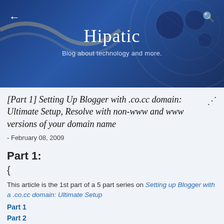Hipatic — Blog about technology and more.
[Part 1] Setting Up Blogger with .co.cc domain: Ultimate Setup, Resolve with non-www and www versions of your domain name
- February 08, 2009
Part 1:
{
This article is the 1st part of a 5 part series on Setting up Blogger with a .co.cc domain: Ultimate Setup
Part 1
Part 2
Part 3
Part 4